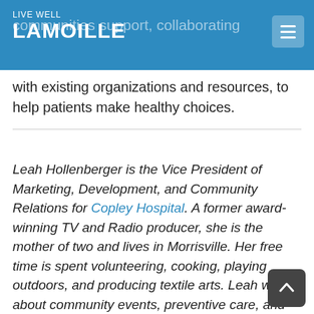LIVE WELL LAMOILLE
communities support, collaborating with existing organizations and resources, to help patients make healthy choices.
Leah Hollenberger is the Vice President of Marketing, Development, and Community Relations for Copley Hospital. A former award-winning TV and Radio producer, she is the mother of two and lives in Morrisville. Her free time is spent volunteering, cooking, playing outdoors, and producing textile arts. Leah writes about community events, preventive care, and assorted ideas to help one make healthy choices.